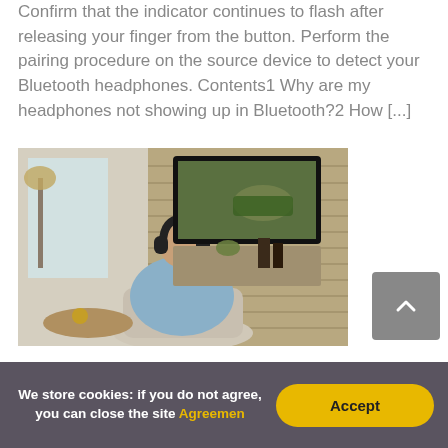Confirm that the indicator continues to flash after releasing your finger from the button. Perform the pairing procedure on the source device to detect your Bluetooth headphones. Contents1 Why are my headphones not showing up in Bluetooth?2 How [...]
[Figure (photo): A person wearing black Bluetooth headphones sitting in an armchair viewed from behind, watching a TV mounted on a stone wall showing an off-road vehicle scene. A floor lamp and decorative items are visible in the living room setting.]
We store cookies: if you do not agree, you can close the site Agreemen
Accept